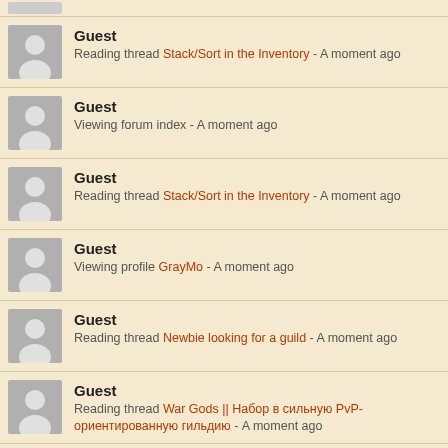Guest - Reading thread Stack/Sort in the Inventory - A moment ago
Guest - Viewing forum index - A moment ago
Guest - Reading thread Stack/Sort in the Inventory - A moment ago
Guest - Viewing profile GrayMo - A moment ago
Guest - Reading thread Newbie looking for a guild - A moment ago
Guest - Reading thread War Gods || Набор в сильную PvP-ориентированную гильдию - A moment ago
Guest - Unknown location - A moment ago